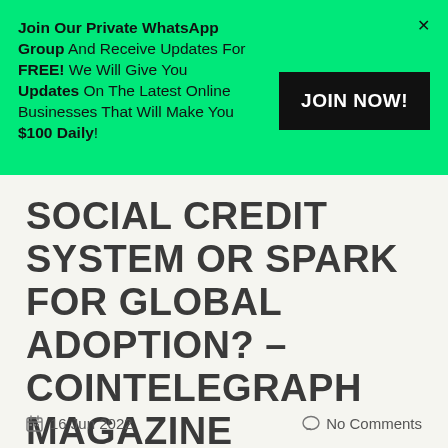[Figure (infographic): Green banner advertisement for a private WhatsApp group with JOIN NOW button and X close button]
SOCIAL CREDIT SYSTEM OR SPARK FOR GLOBAL ADOPTION? – COINTELEGRAPH MAGAZINE
16 Jun 2022   No Comments